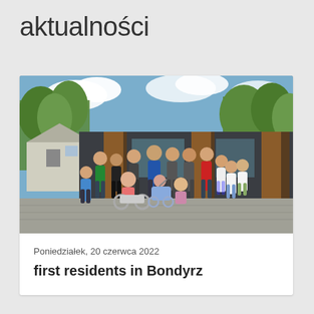aktualności
[Figure (photo): Group of people including children and adults with disabilities posing in front of a modern building with dark panels and wood accents, outdoors on a sunny day. Some individuals are in wheelchairs.]
Poniedziałek, 20 czerwca 2022
first residents in Bondyrz